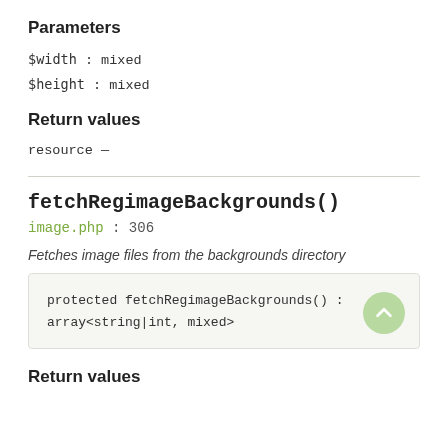Parameters
$width : mixed
$height : mixed
Return values
resource —
fetchRegimageBackgrounds() image.php : 306
Fetches image files from the backgrounds directory
protected fetchRegimageBackgrounds() : array<string|int, mixed>
Return values